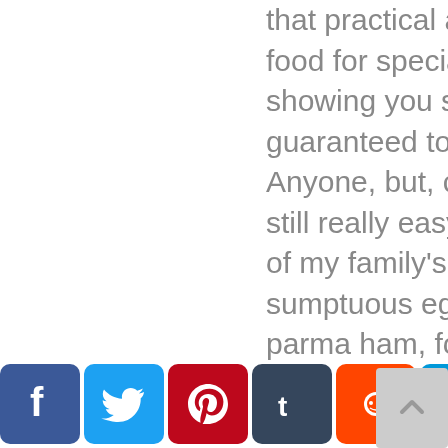that practical at home, with my ultimate food for special occasions i'll, be showing you some stunning dishes guaranteed to knock the socks off. Anyone, but, crucially, these dishes are still really easy to pull off. First up, one of my family's favorite breakfast treats sumptuous eggs benedict with crispy parma ham, followed by a dish fit to take center stage. At any special occasion, lunch luscious grilled lobster served with bloody mary linguine. The smell of that chili and garlic potter is extraordinary and jack, and i cook up the ultimate unforgettable dinner for a ramsay clan get together.

It doesn't get more memorable than this nice. A superb rare fillet of beef wi... baked new potatoes, with an indulgent twist and